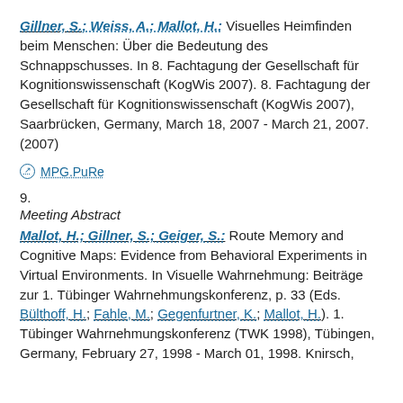Gillner, S.; Weiss, A.; Mallot, H.: Visuelles Heimfinden beim Menschen: Über die Bedeutung des Schnappschusses. In 8. Fachtagung der Gesellschaft für Kognitionswissenschaft (KogWis 2007). 8. Fachtagung der Gesellschaft für Kognitionswissenschaft (KogWis 2007), Saarbrücken, Germany, March 18, 2007 - March 21, 2007. (2007)
MPG.PuRe
9.
Meeting Abstract
Mallot, H.; Gillner, S.; Geiger, S.: Route Memory and Cognitive Maps: Evidence from Behavioral Experiments in Virtual Environments. In Visuelle Wahrnehmung: Beiträge zur 1. Tübinger Wahrnehmungskonferenz, p. 33 (Eds. Bülthoff, H.; Fahle, M.; Gegenfurtner, K.; Mallot, H.). 1. Tübinger Wahrnehmungskonferenz (TWK 1998), Tübingen, Germany, February 27, 1998 - March 01, 1998. Knirsch,